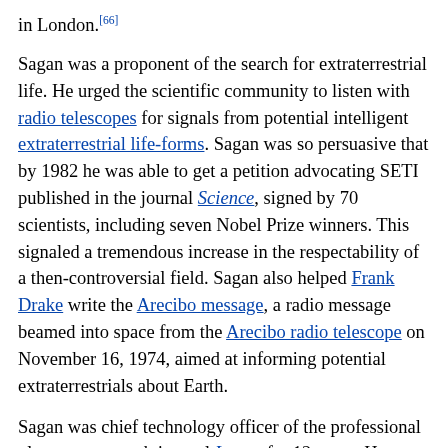in London.[66]
Sagan was a proponent of the search for extraterrestrial life. He urged the scientific community to listen with radio telescopes for signals from potential intelligent extraterrestrial life-forms. Sagan was so persuasive that by 1982 he was able to get a petition advocating SETI published in the journal Science, signed by 70 scientists, including seven Nobel Prize winners. This signaled a tremendous increase in the respectability of a then-controversial field. Sagan also helped Frank Drake write the Arecibo message, a radio message beamed into space from the Arecibo radio telescope on November 16, 1974, aimed at informing potential extraterrestrials about Earth.
Sagan was chief technology officer of the professional planetary research journal Icarus for 12 years. He co-founded The Planetary Society and was a member of the SETI Institute Board of Trustees. Sagan served as Chairman of the Division for Planetary Science of the American Astronomical Society, as President of the Planetology Section of the American Geophysical Union, and as Chairman of the Astronomy Section of the American Association for the Advancement of Science (AAAS).
[Figure (photo): Partial photograph showing what appears to be a room interior with wooden furniture and a ceiling, cropped at the bottom of the page.]